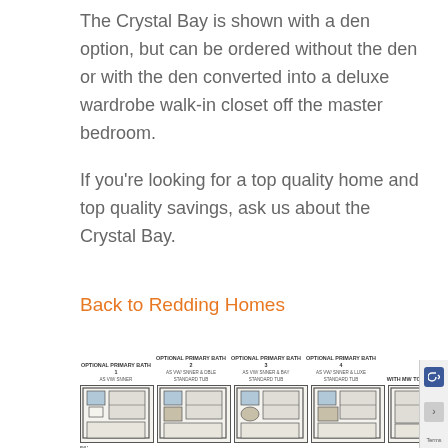The Crystal Bay is shown with a den option, but can be ordered without the den or with the den converted into a deluxe wardrobe walk-in closet off the master bedroom.
If you're looking for a top quality home and top quality savings, ask us about the Crystal Bay.
Back to Redding Homes
[Figure (engineering-diagram): Floor plan options showing Optional Primary Bath 1, 2, 3, 4, and With MW Tower layouts, plus a partial bottom floor plan with 56' dimension label.]